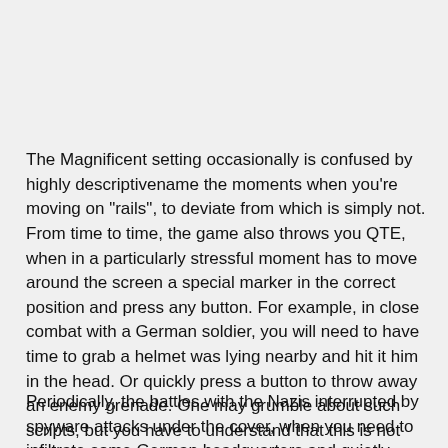The Magnificent setting occasionally is confused by highly descriptivename the moments when you're moving on "rails", to deviate from which is simply not. From time to time, the game also throws you QTE, when in a particularly stressful moment has to move around the screen a special marker in the correct position and press any button. For example, in close combat with a German soldier, you will need to have time to grab a helmet was lying nearby and hit it him in the head. Or quickly press a button to throw away an enemy grenade. One may grumble about such scripts, but you have to understand that this is not done just so, and then to add the game of entertainment, while trying not to complicate the management.
Periodically, the battles with the Nazis interrupted by spyware attacks under the cover, when you need to infiltrate some German headquarters and quietly sabotage from the inside.